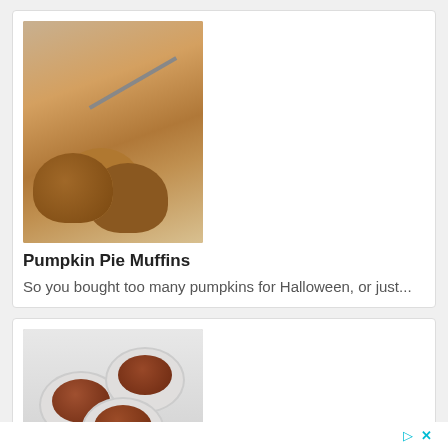[Figure (photo): Photo of pumpkin pie muffins with walnuts on a wooden cutting board with a knife]
Pumpkin Pie Muffins
So you bought too many pumpkins for Halloween, or just...
[Figure (photo): Photo of three white ramekins filled with chocolate mousse or pudding on a white surface]